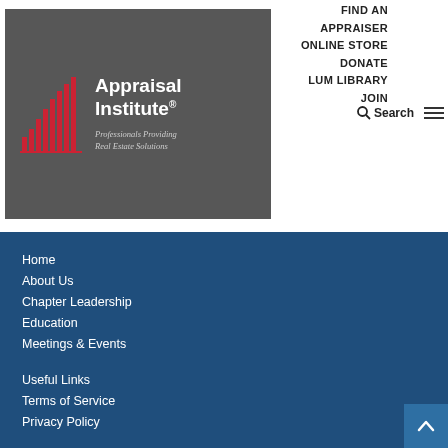[Figure (logo): Appraisal Institute logo on dark gray background with red bar chart icon and text 'Appraisal Institute® Professionals Providing Real Estate Solutions']
FIND AN APPRAISER
ONLINE STORE
DONATE
LUM LIBRARY
JOIN
Home
About Us
Chapter Leadership
Education
Meetings & Events
Useful Links
Terms of Service
Privacy Policy